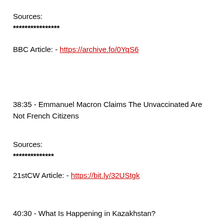Sources:
****************
BBC Article: - https://archive.fo/0YqS6
38:35 - Emmanuel Macron Claims The Unvaccinated Are Not French Citizens
Sources:
**************
21stCW Article: - https://bit.ly/32UStgk
40:30 - What Is Happening in Kazakhstan?